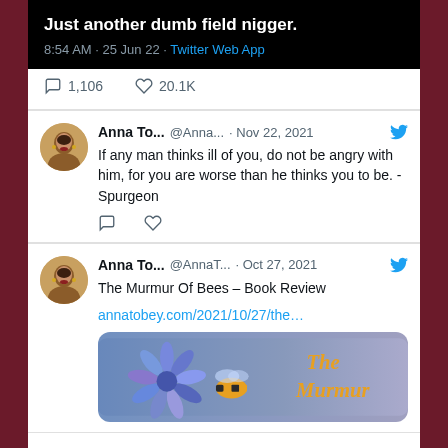[Figure (screenshot): Screenshot of tweets. Top portion shows a dark tweet card with text 'Just another dumb field nigger.' posted at 8:54 AM 25 Jun 22 via Twitter Web App, with 1,106 replies and 20.1K likes. Second tweet by Anna To... @Anna... Nov 22, 2021 with a quote 'If any man thinks ill of you, do not be angry with him, for you are worse than he thinks you to be. - Spurgeon'. Third tweet by Anna To... @AnnaT... Oct 27, 2021 about 'The Murmur Of Bees - Book Review' with a link and book cover image.]